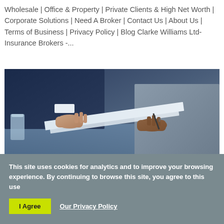Wholesale | Office & Property | Private Clients & High Net Worth | Corporate Solutions | Need A Broker | Contact Us | About Us | Terms of Business | Privacy Policy | Blog Clarke Williams Ltd- Insurance Brokers -...
[Figure (photo): Two people in business attire exchanging or reviewing documents/papers across a table, with a glass of water visible on the left side.]
This site uses cookies for analytics and to improve your browsing experience. By continuing to browse this site, you agree to this use
I Agree  Our Privacy Policy